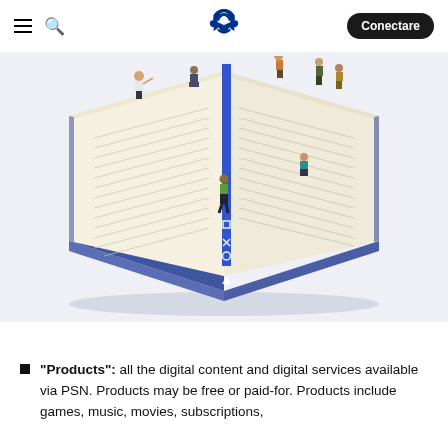≡  🔍  [PlayStation Logo]  Conectare
[Figure (illustration): Isometric illustration of an open book with mini people figures standing on its pages. A blue PlayStation bookmark ribbon with symbols (triangle, circle, X, square) runs down the center spine of the book. The book has a blue cover and cream/white pages with text lines. Small illustrated people in various poses and colors are situated around the book pages.]
"Products": all the digital content and digital services available via PSN. Products may be free or paid-for. Products include games, music, movies, subscriptions,